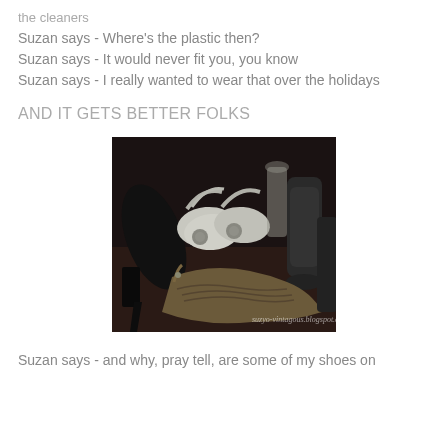the cleaners
Suzan says - Where's the plastic then?
Suzan says - It would never fit you, you know
Suzan says - I really wanted to wear that over the holidays
AND IT GETS BETTER FOLKS
[Figure (photo): Black and white photo of multiple pairs of shoes arranged on a surface, including heels, sandals, and boots. Watermark: suzyo-vintagous.blogspot.ca]
Suzan says - and why, pray tell, are some of my shoes on